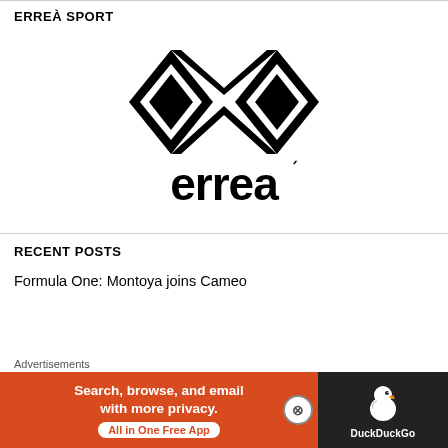ERREÀ SPORT
[Figure (logo): Erreà Sport logo — black diamond/chevron geometric mark above the word 'errea' in bold lowercase]
RECENT POSTS
Formula One: Montoya joins Cameo
Advertisements
[Figure (other): DuckDuckGo advertisement banner: 'Search, browse, and email with more privacy. All in One Free App' on orange background with DuckDuckGo duck logo on dark background]